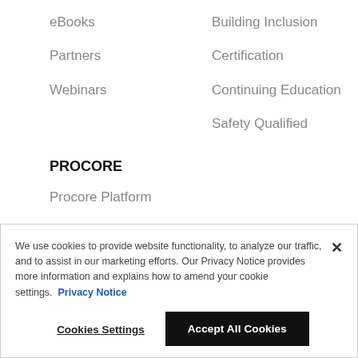eBooks
Building Inclusion
Partners
Certification
Webinars
Continuing Education
Safety Qualified
PROCORE
Procore Platform
Groundbreak
Procore Blog
We use cookies to provide website functionality, to analyze our traffic, and to assist in our marketing efforts. Our Privacy Notice provides more information and explains how to amend your cookie settings. Privacy Notice
Cookies Settings
Accept All Cookies